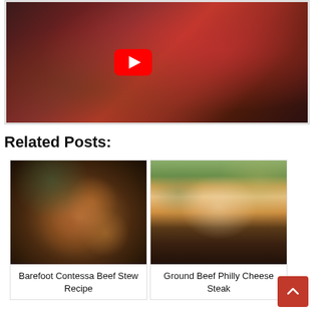[Figure (screenshot): YouTube video thumbnail showing a dark red braised beef dish with a red YouTube play button overlay in the center]
Related Posts:
[Figure (photo): Barefoot Contessa Beef Stew Recipe – a bowl of hearty beef stew with carrots, potatoes, and herbs, with spoons on a cloth napkin nearby]
Barefoot Contessa Beef Stew Recipe
[Figure (photo): Ground Beef Philly Cheese Steak – a cheesesteak sandwich with melted cheese, mushrooms and green peppers on a hoagie roll]
Ground Beef Philly Cheese Steak